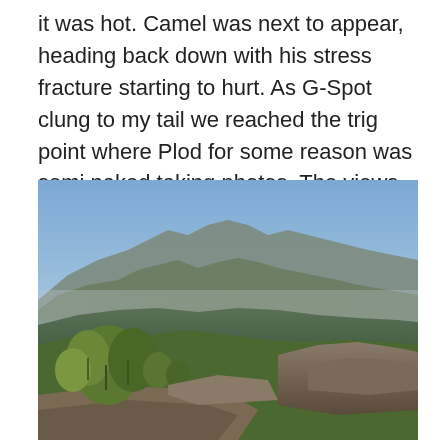it was hot. Camel was next to appear, heading back down with his stress fracture starting to hurt. As G-Spot clung to my tail we reached the trig point where Plod for some reason was semi naked taking photos. The views were terrific and we stopped to take them in.
[Figure (photo): Scenic mountain landscape photograph taken from a high vantage point. In the foreground are large rocks and scrubby green vegetation/shrubs. The middle ground shows densely forested green hillsides. The background shows a dramatic mountain ridge line with multiple peaks under a hazy blue-purple sky.]